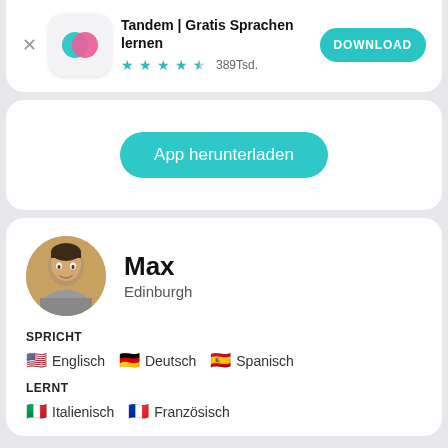[Figure (screenshot): Tandem app advertisement banner with app icon, title, star rating, and download button]
Tandem | Gratis Sprachen lernen
389Tsd.
DOWNLOAD
App herunterladen
Max
Edinburgh
SPRICHT
Englisch  Deutsch  Spanisch
LERNT
Italienisch  Französisch